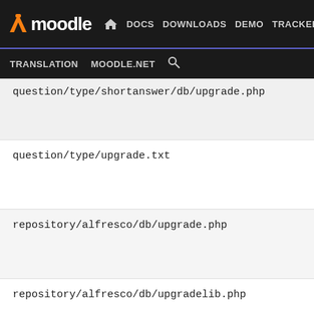[Figure (screenshot): Moodle developer site navigation bar with logo, nav links (DOCS, DOWNLOADS, DEMO, TRACKER, DEV highlighted), and secondary links (TRANSLATION, MOODLE.NET, search icon)]
question/type/shortanswer/db/upgrade.php
question/type/upgrade.txt
repository/alfresco/db/upgrade.php
repository/alfresco/db/upgradelib.php
repository/alfresco/lang/en/repository_alfresco.php
repository/boxnet/db/upgrade.php